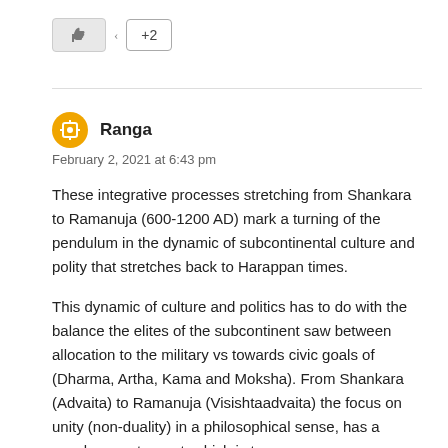[Figure (other): Like button (thumbs up icon) and +2 button UI controls]
These integrative processes stretching from Shankara to Ramanuja (600-1200 AD) mark a turning of the pendulum in the dynamic of subcontinental culture and polity that stretches back to Harappan times.
This dynamic of culture and politics has to do with the balance the elites of the subcontinent saw between allocation to the military vs towards civic goals of (Dharma, Artha, Kama and Moksha). From Shankara (Advaita) to Ramanuja (Visishtaadvaita) the focus on unity (non-duality) in a philosophical sense, has a secular counter part, which is to